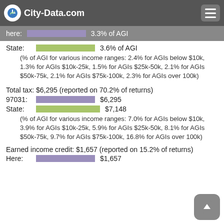City-Data.com
here: [bar] 3.3% of AGI
State: [bar] 3.6% of AGI
(% of AGI for various income ranges: 2.4% for AGIs below $10k, 1.3% for AGIs $10k-25k, 1.5% for AGIs $25k-50k, 2.1% for AGIs $50k-75k, 2.1% for AGIs $75k-100k, 2.3% for AGIs over 100k)
Total tax: $6,295 (reported on 70.2% of returns)
97031: [bar] $6,295
State: [bar] $7,148
(% of AGI for various income ranges: 7.0% for AGIs below $10k, 3.9% for AGIs $10k-25k, 5.9% for AGIs $25k-50k, 8.1% for AGIs $50k-75k, 9.7% for AGIs $75k-100k, 16.8% for AGIs over 100k)
Earned income credit: $1,657 (reported on 15.2% of returns)
Here: [bar] $1,657